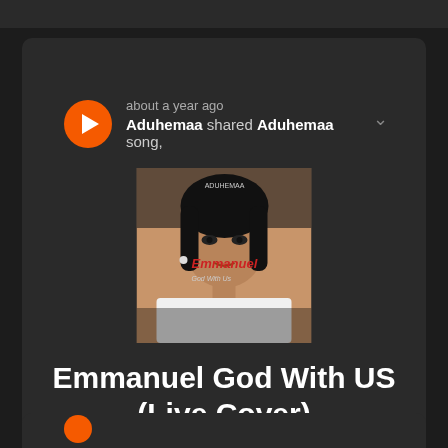about a year ago
Aduhemaa shared Aduhemaa song,
[Figure (photo): Album cover for Emmanuel God With US (Live Cover) by Aduhemaa — a close-up portrait photo of a woman with text overlay reading 'Emmanuel' in stylized red/white lettering]
Emmanuel God With US (Live Cover)
5:32 • 1 Likes • 40 Plays